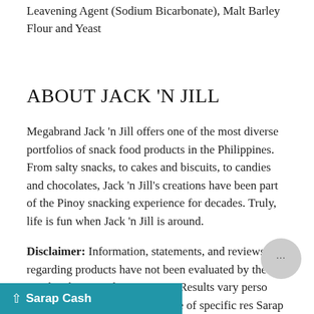Leavening Agent (Sodium Bicarbonate), Malt Barley Flour and Yeast
ABOUT JACK 'N JILL
Megabrand Jack 'n Jill offers one of the most diverse portfolios of snack food products in the Philippines. From salty snacks, to cakes and biscuits, to candies and chocolates, Jack 'n Jill's creations have been part of the Pinoy snacking experience for decades. Truly, life is fun when Jack 'n Jill is around.
Disclaimer: Information, statements, and reviews regarding products have not been evaluated by the Food and Drug Administration. Results vary person to person, and there is no guarantee of specific results. Sarap Now assumes no liability for inaccuracies or claims about products.
Sarap Cash